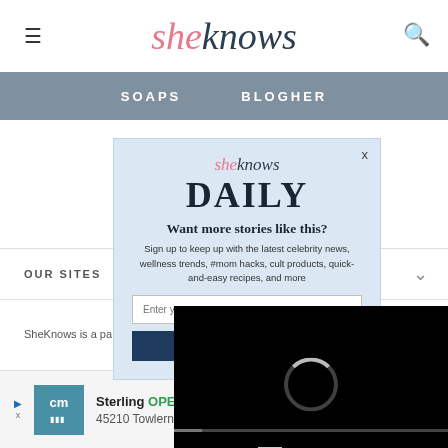sheknows
SOAPS   BLOGHER
[Figure (screenshot): SheKnows Daily newsletter signup modal with logo, headline 'Want more stories like this?', body text, email input field, and subscribe button]
OUR SITES
SheKnows is a pa...
[Figure (screenshot): Video player overlay showing black background with loading spinner and controls showing 13:52 timestamp, mute, CC, grid, and expand buttons]
[Figure (screenshot): Ad banner: cm logo, Sterling OPEN 10AM-9PM, 45210 Towlern Place, Sterling with navigation arrow icon]